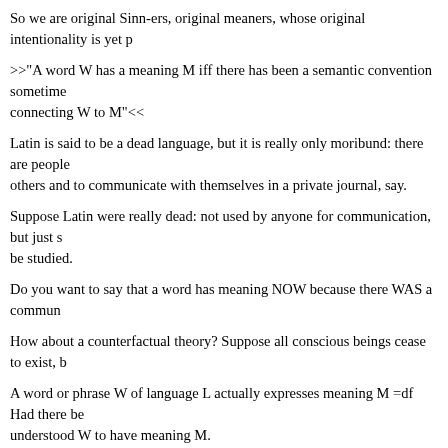So we are original Sinn-ers, original meaners, whose original intentionality is yet p
>>"A word W has a meaning M iff there has been a semantic convention sometime connecting W to M"<<
Latin is said to be a dead language, but it is really only moribund: there are people others and to communicate with themselves in a private journal, say.
Suppose Latin were really dead: not used by anyone for communication, but just s be studied.
Do you want to say that a word has meaning NOW because there WAS a commun
How about a counterfactual theory? Suppose all conscious beings cease to exist, b
A word or phrase W of language L actually expresses meaning M =df Had there be understood W to have meaning M.
I think CF theories like this are hopeless but that takes further arguing.
Posted by: Bill Vallicella | Saturday, February 13, 2016 at 10:36 AM
>> We need more reception-based approach and less transmission based. We 'expr substance from our mind.
What about 'impressed' thoughts? Stuff that is emitted from the utterance, and is i
Does the random inscription not impress a thought? <<
Are you perhaps being misled by etymology? How about this metaphor: we 'clothe presentable in public for purposes of communication. Thoughts are not in the mi